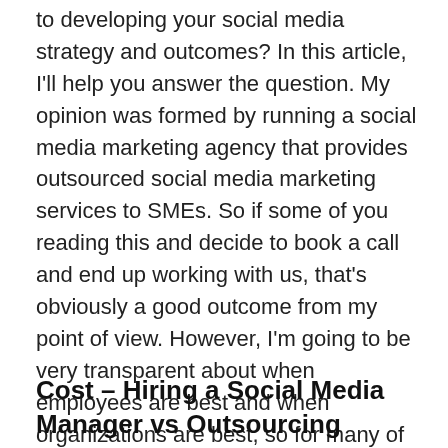to developing your social media strategy and outcomes? In this article, I'll help you answer the question. My opinion was formed by running a social media marketing agency that provides outsourced social media marketing services to SMEs. So if some of you reading this and decide to book a call and end up working with us, that's obviously a good outcome from my point of view. However, I'm going to be very transparent about when employees are best and when organizations are best, so for many of you reading this, it's advisable not to work with social media agencies. So I hope you feel that my assessment is objective when you finish this article. Cost – Hiring a Social Media Manager vs Outsourcing First, let's talk about costs.
Cost – Hiring a Social Media Manager vs Outsourcing